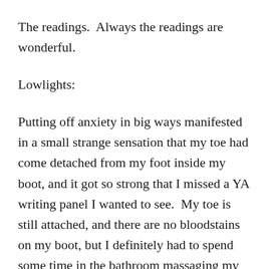The readings.  Always the readings are wonderful.
Lowlights:
Putting off anxiety in big ways manifested in a small strange sensation that my toe had come detached from my foot inside my boot, and it got so strong that I missed a YA writing panel I wanted to see.  My toe is still attached, and there are no bloodstains on my boot, but I definitely had to spend some time in the bathroom massaging my foot to ensure my body was working.